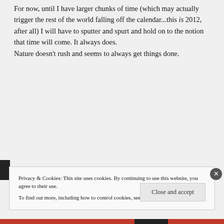For now, until I have larger chunks of time (which may actually trigger the rest of the world falling off the calendar...this is 2012, after all) I will have to sputter and spurt and hold on to the notion that time will come. It always does.
Nature doesn't rush and seems to always get things done.
Privacy & Cookies: This site uses cookies. By continuing to use this website, you agree to their use.
To find out more, including how to control cookies, see here: Cookie Policy
Close and accept